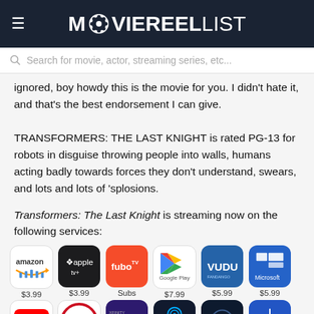MOVIEREELIST
Search for movie, actor, streaming series, etc...
ignored, boy howdy this is the movie for you. I didn't hate it, and that's the best endorsement I can give. TRANSFORMERS: THE LAST KNIGHT is rated PG-13 for robots in disguise throwing people into walls, humans acting badly towards forces they don't understand, swears, and lots and lots of 'splosions.
Transformers: The Last Knight is streaming now on the following services:
[Figure (infographic): Streaming service icons with prices: Amazon $3.99, Apple TV $3.99, FuboTV Subs, Google Play $7.99, Vudu $5.99, Microsoft $5.99, YouTube $7.99, Redbox $3.99, On Demand $3.99, DirecTV $3.99, Arrow/Play $3.99, Paramount+ Subs]